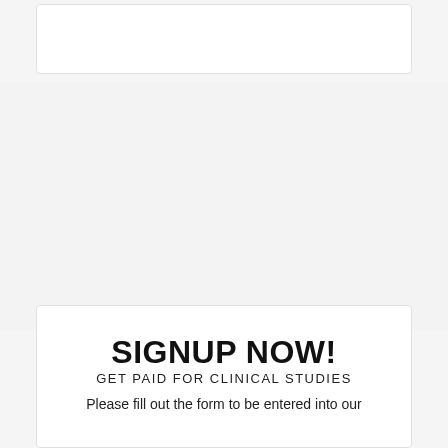SIGNUP NOW!
GET PAID FOR CLINICAL STUDIES
Please fill out the form to be entered into our